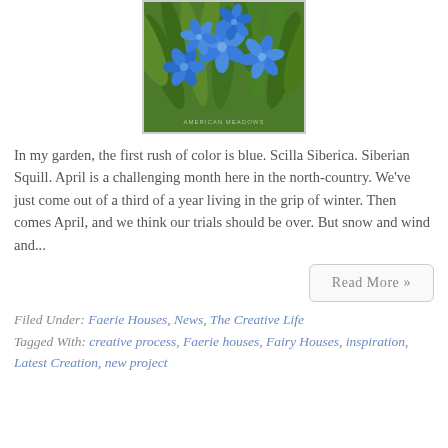[Figure (photo): Blue Scilla Siberica (Siberian Squill) flowers with green foliage background, photo credit American Meadows]
In my garden, the first rush of color is blue. Scilla Siberica. Siberian Squill. April is a challenging month here in the north-country. We've just come out of a third of a year living in the grip of winter. Then comes April, and we think our trials should be over. But snow and wind and...
Read More »
Filed Under: Faerie Houses, News, The Creative Life
Tagged With: creative process, Faerie houses, Fairy Houses, inspiration, Latest Creation, new project